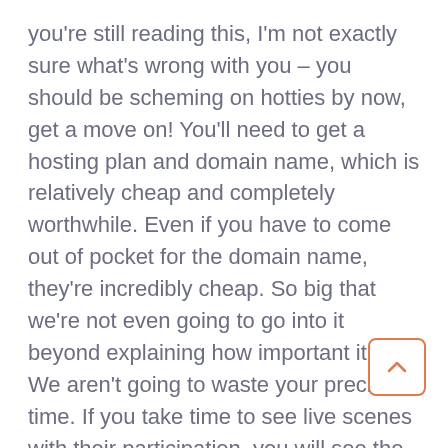you're still reading this, I'm not exactly sure what's wrong with you – you should be scheming on hotties by now, get a move on! You'll need to get a hosting plan and domain name, which is relatively cheap and completely worthwhile. Even if you have to come out of pocket for the domain name, they're incredibly cheap. So big that we're not even going to go into it beyond explaining how important it is. We aren't going to waste your precious time. If you take time to see live scenes with their participation, you will see the most spectacular sex stream ever. We have a huge free DVD selection that you can download or stream. And once a website is ranked, it's a steady non-stop stream of tra Currently, you need to inquire about the websites, but a self-served website builder is in